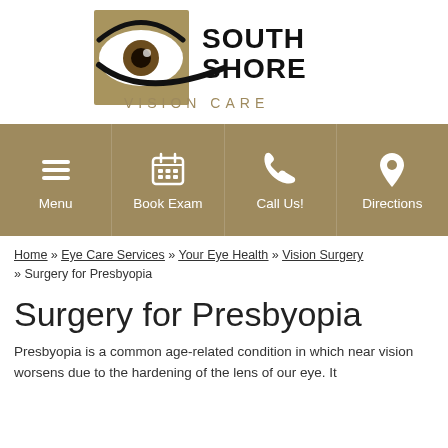[Figure (logo): South Shore Vision Care logo with eye graphic and text]
[Figure (infographic): Navigation bar with four tan/gold buttons: Menu (hamburger icon), Book Exam (calendar icon), Call Us! (phone icon), Directions (map pin icon)]
Home » Eye Care Services » Your Eye Health » Vision Surgery » Surgery for Presbyopia
Surgery for Presbyopia
Presbyopia is a common age-related condition in which near vision worsens due to the hardening of the lens of our eye. It